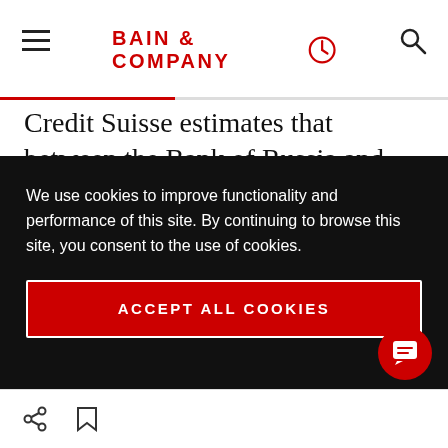BAIN & COMPANY
Credit Suisse estimates that between the Bank of Russia and the private sector, Russia contributes roughly $1 trillion to liquid global wealth, of which about $300 billion is deployed in money markets. The many nuances and implications of severing Russia's relationship with the global financial system are beyond the scope of this
We use cookies to improve functionality and performance of this site. By continuing to browse this site, you consent to the use of cookies.
ACCEPT ALL COOKIES